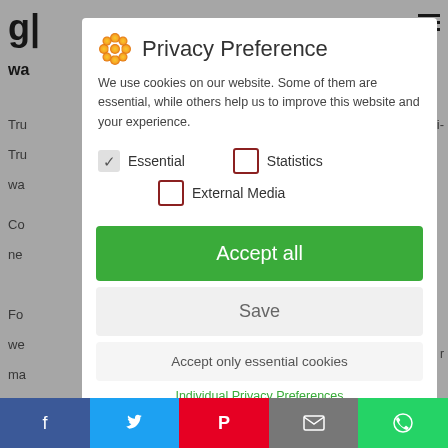[Figure (screenshot): Cookie/Privacy Preference modal dialog overlaying a website. The modal has a flower icon, title 'Privacy Preference', descriptive text about cookies, checkboxes for Essential (checked), Statistics, and External Media, buttons for Accept all, Save, Accept only essential cookies, a green link for Individual Privacy Preferences, and footer links for Cookie Details and Privacy Policy. Below the modal is a social sharing bar with Facebook, Twitter, Pinterest, email, and WhatsApp buttons.]